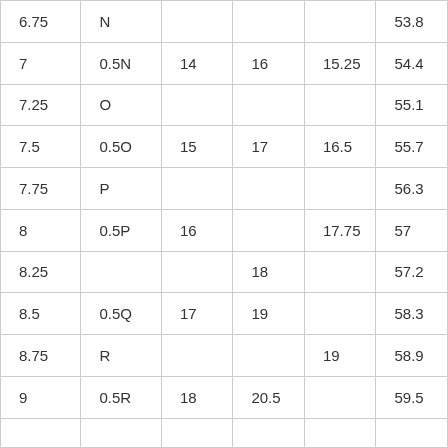| 6.75 | N |  |  |  | 53.8 |
| 7 | 0.5N | 14 | 16 | 15.25 | 54.4 |
| 7.25 | O |  |  |  | 55.1 |
| 7.5 | 0.5O | 15 | 17 | 16.5 | 55.7 |
| 7.75 | P |  |  |  | 56.3 |
| 8 | 0.5P | 16 |  | 17.75 | 57 |
| 8.25 |  |  | 18 |  | 57.2 |
| 8.5 | 0.5Q | 17 | 19 |  | 58.3 |
| 8.75 | R |  |  | 19 | 58.9 |
| 9 | 0.5R | 18 | 20.5 |  | 59.5 |
|  |  |  |  |  |  |